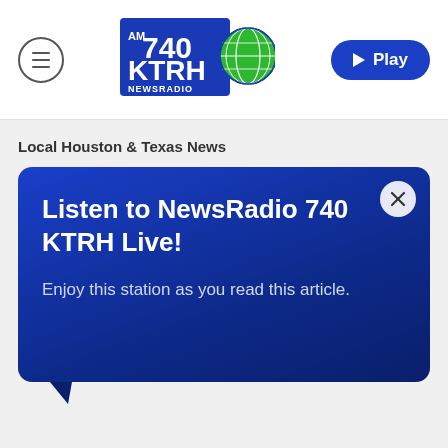[Figure (logo): AM 740 KTRH NewsRadio logo — blue banner with globe graphic and white text]
Local Houston & Texas News
Listen to NewsRadio 740 KTRH Live!
Enjoy this station as you read this article.